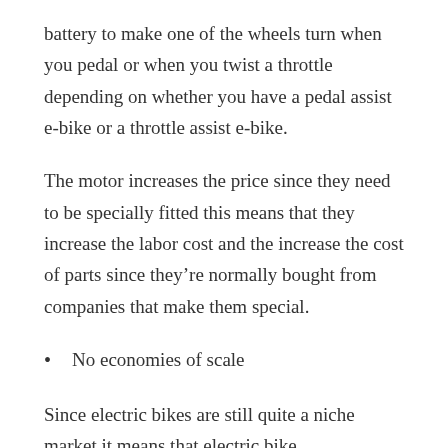battery to make one of the wheels turn when you pedal or when you twist a throttle depending on whether you have a pedal assist e-bike or a throttle assist e-bike.
The motor increases the price since they need to be specially fitted this means that they increase the labor cost and the increase the cost of parts since they’re normally bought from companies that make them special.
No economies of scale
Since electric bikes are still quite a niche market it means that electric bike manufacturers are not able to do things in bulk. This means that it’s not easy for them to benefit from economies of scale which are the cost